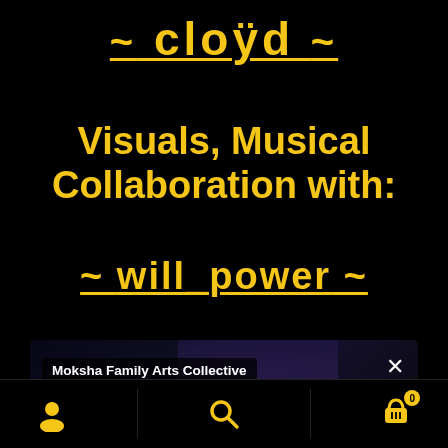~ cloud ~
Visuals, Musical Collaboration with:
~ willpower ~
[Figure (screenshot): Video player showing 'Moksha Family Arts Collective' with a Player error message and a close button. The background shows a dark stage with colorful artwork.]
Moksha Family Arts Collective
Player error